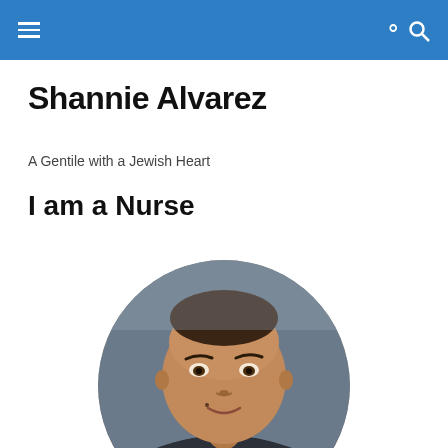Shannie Alvarez
A Gentile with a Jewish Heart
I am a Nurse
[Figure (photo): Circular cropped headshot photo of a woman (Shannie Alvarez) with short dark hair, wearing a dark jacket, looking directly at the camera. A small circular badge with a blue nursing/medical icon is visible at the bottom right of the circular photo.]